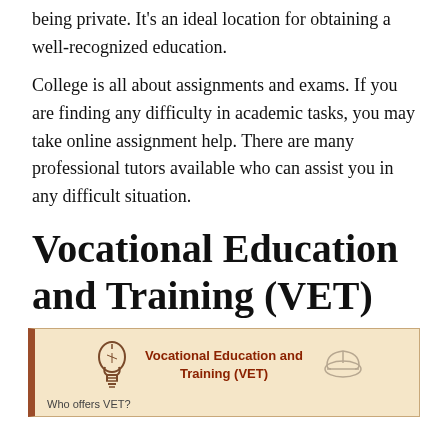being private. It's an ideal location for obtaining a well-recognized education.
College is all about assignments and exams. If you are finding any difficulty in academic tasks, you may take online assignment help. There are many professional tutors available who can assist you in any difficult situation.
Vocational Education and Training (VET)
[Figure (infographic): Infographic with a light bulb icon and text 'Vocational Education and Training (VET)' in dark red/brown on a beige background with a brown left border. Bottom text reads 'Who offers VET?']